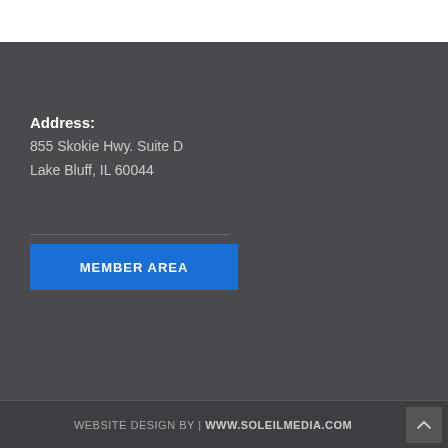Address:
855 Skokie Hwy. Suite D
Lake Bluff, IL 60044
MEMBER AREA
WEBSITE DESIGN BY | WWW.SOLEILMEDIA.COM